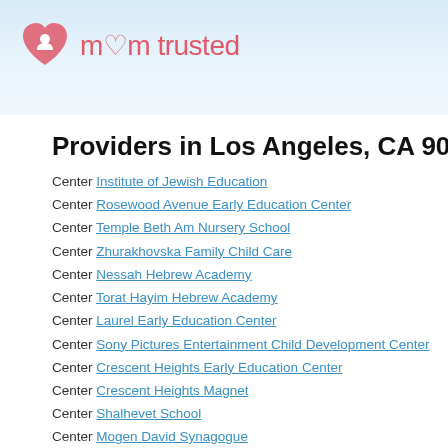mom trusted
Providers in Los Angeles, CA 9004
Center Institute of Jewish Education
Center Rosewood Avenue Early Education Center
Center Temple Beth Am Nursery School
Center Zhurakhovska Family Child Care
Center Nessah Hebrew Academy
Center Torat Hayim Hebrew Academy
Center Laurel Early Education Center
Center Sony Pictures Entertainment Child Development Center
Center Crescent Heights Early Education Center
Center Crescent Heights Magnet
Center Shalhevet School
Center Mogen David Synagogue
Center Dvorskaya Alternative School
Center Good Shepherd Catholic Pre-k
Center Yeshivah Rav Isacsohn Day Care Center
Center Yeshivath Torath Emeth Academy
Center Los Angeles Cheder
Center Wilshire Boulevard Temple
Center Yavneh Hebrew Academy
Center Gramercy Family Center
Center 1.2.3. Christian Mission
Center Shonandoah Early Education Center